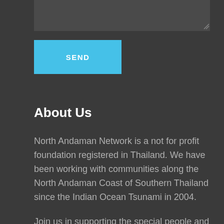[Figure (other): Textarea input field stub at top of page]
[Figure (other): SEND button, light blue background with white bold text]
About Us
North Andaman Network is a not for profit foundation registered in Thailand. We have been working with communities along the North Andaman Coast of Southern Thailand since the Indian Ocean Tsunami in 2004.
Join us in supporting the special people and nature of this area to sustainably develop and prepare for the future.